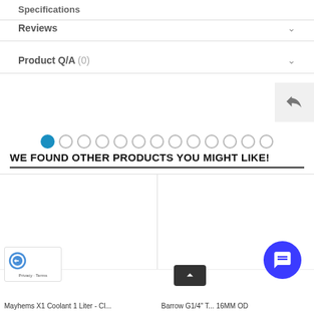Specifications
Reviews
Product Q/A (0)
[Figure (other): Carousel pagination dots with first dot active (blue) and remaining dots empty circles]
WE FOUND OTHER PRODUCTS YOU MIGHT LIKE!
[Figure (other): Two product card placeholders side by side (blank white rectangles)]
Mayhems X1 Coolant 1 Liter - Cl...
Barrow G1/4" T... 16MM OD